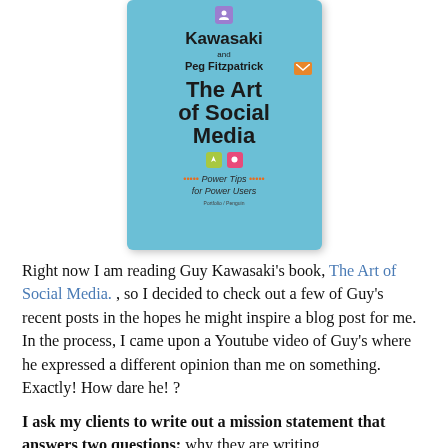[Figure (illustration): Book cover of 'The Art of Social Media: Power Tips for Power Users' by Guy Kawasaki and Peg Fitzpatrick. Light blue cover with large bold black title text and colorful social media icons.]
Right now I am reading Guy Kawasaki's book, The Art of Social Media. , so I decided to check out a few of Guy's recent posts in the hopes he might inspire a blog post for me. In the process, I came upon a Youtube video of Guy's where he expressed a different opinion than me on something. Exactly! How dare he! ?
I ask my clients to write out a mission statement that answers two questions; why they are writing,